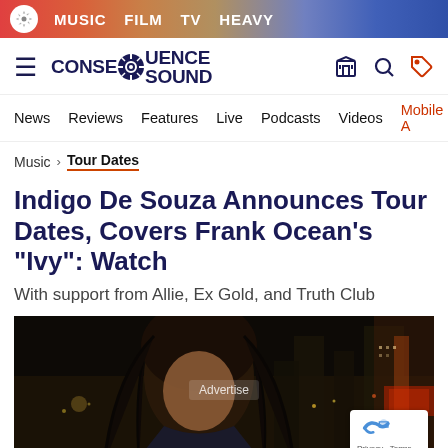MUSIC FILM TV HEAVY
[Figure (logo): Consequence Sound logo with navigation menu, hamburger icon, search and tag icons]
News  Reviews  Features  Live  Podcasts  Videos  Mobile A
Music > Tour Dates
Indigo De Souza Announces Tour Dates, Covers Frank Ocean's "Ivy": Watch
With support from Allie, Ex Gold, and Truth Club
[Figure (photo): Nighttime photo of Indigo De Souza with city lights in background, dark curly hair, wearing dark jacket. Advertisement overlay visible.]